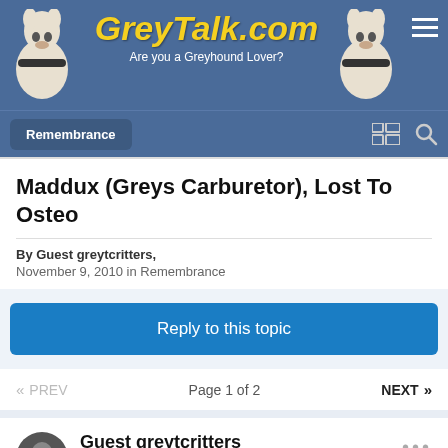GreyTalk.com — Are you a Greyhound Lover?
Maddux (Greys Carburetor), Lost To Osteo
By Guest greytcritters, November 9, 2010 in Remembrance
Reply to this topic
« PREV  Page 1 of 2  NEXT »
Guest greytcritters
Posted November 9, 2010